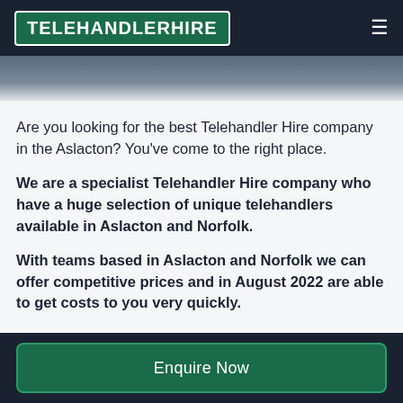TELEHANDLERHIRE
[Figure (photo): Hero image strip showing outdoor scene with machinery]
Are you looking for the best Telehandler Hire company in the Aslacton? You've come to the right place.
We are a specialist Telehandler Hire company who have a huge selection of unique telehandlers available in Aslacton and Norfolk.
With teams based in Aslacton and Norfolk we can offer competitive prices and in August 2022 are able to get costs to you very quickly.
Enquire Now